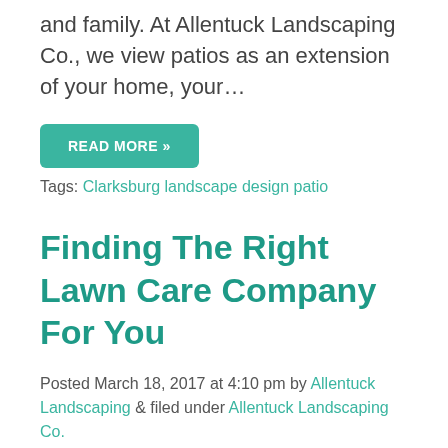and family. At Allentuck Landscaping Co., we view patios as an extension of your home, your…
READ MORE »
Tags: Clarksburg landscape design patio
Finding The Right Lawn Care Company For You
Posted March 18, 2017 at 4:10 pm by Allentuck Landscaping & filed under Allentuck Landscaping Co.
Have You Found Your Lawn Care Company? Do you know what to look for